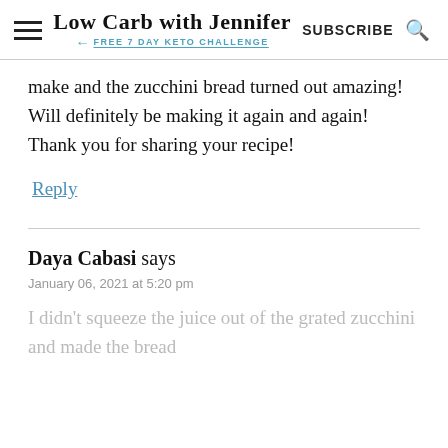Low Carb with Jennifer FREE 7 DAY KETO CHALLENGE | SUBSCRIBE
make and the zucchini bread turned out amazing! Will definitely be making it again and again! Thank you for sharing your recipe!
Reply
Daya Cabasi says
January 06, 2021 at 5:20 pm
I didn't squeeze the juice out of the grated zucchini and made the bread